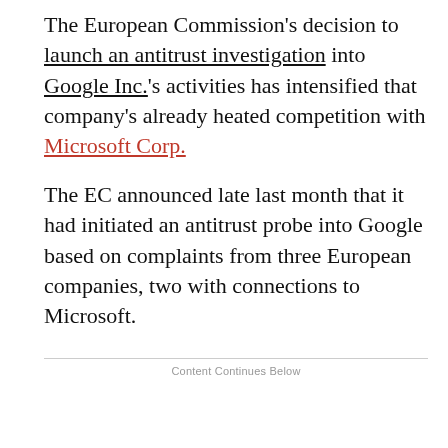The European Commission's decision to launch an antitrust investigation into Google Inc.'s activities has intensified that company's already heated competition with Microsoft Corp.
The EC announced late last month that it had initiated an antitrust probe into Google based on complaints from three European companies, two with connections to Microsoft.
Content Continues Below